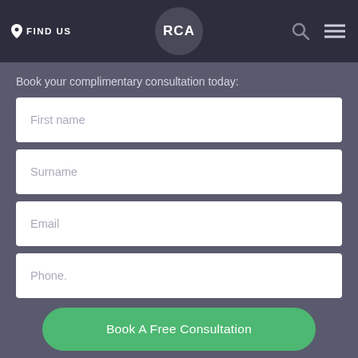FIND US | RCA
Book your complimentary consultation today:
First name
Surname
Email
Phone.
Book A Free Consultation